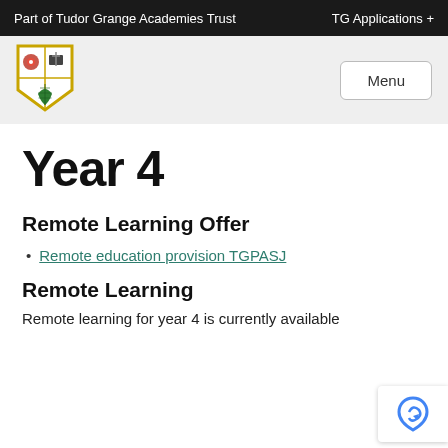Part of Tudor Grange Academies Trust    TG Applications +
[Figure (logo): Tudor Grange Academies Trust shield logo with rose, book and shell emblems in gold border]
Year 4
Remote Learning Offer
Remote education provision TGPASJ
Remote Learning
Remote learning for year 4 is currently available